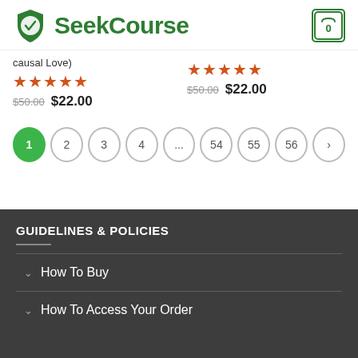[Figure (logo): SeekCourse logo with green shield icon and cart icon with 0]
causal Love)
★★★★★ $50.00 $22.00 (left product)
★★★★★ $50.00 $22.00 (right product)
Pagination: 1 2 3 4 ... 54 55 56 >
GUIDELINES & POLICIES
How To Buy
How To Access Your Order